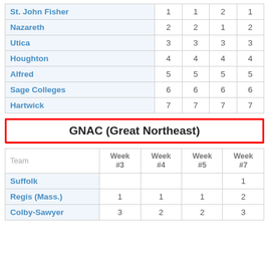| Team | Week #3 | Week #4 | Week #5 | Week #7 |
| --- | --- | --- | --- | --- |
| St. John Fisher | 1 | 1 | 2 | 1 |
| Nazareth | 2 | 2 | 1 | 2 |
| Utica | 3 | 3 | 3 | 3 |
| Houghton | 4 | 4 | 4 | 4 |
| Alfred | 5 | 5 | 5 | 5 |
| Sage Colleges | 6 | 6 | 6 | 6 |
| Hartwick | 7 | 7 | 7 | 7 |
GNAC (Great Northeast)
| Team | Week #3 | Week #4 | Week #5 | Week #7 |
| --- | --- | --- | --- | --- |
| Suffolk |  |  |  | 1 |
| Regis (Mass.) | 1 | 1 | 1 | 2 |
| Colby-Sawyer | 3 | 2 | 2 | 3 |